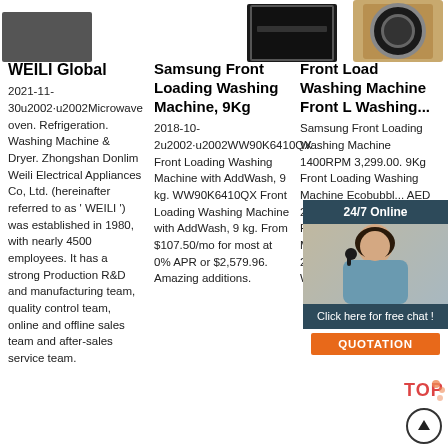[Figure (photo): Product images at top of page: partial dark appliance image on left, black microwave/oven in center, gold/beige washing machine on right]
WEILI Global
2021-11-30u2002·u2002Microwave oven. Refrigeration. Washing Machine & Dryer. Zhongshan Donlim Weili Electrical Appliances Co, Ltd. (hereinafter referred to as 'WEILI ') was established in 1980, with nearly 4500 employees. It has a strong Production R&D and manufacturing team, quality control team, online and offline sales team and after-sales service team.
Samsung Front Loading Washing Machine, 9Kg
2018-10-2u2002·u2002WW90K6410QX Front Loading Washing Machine with AddWash, 9 kg. WW90K6410QX Front Loading Washing Machine with AddWash, 9 kg. From $107.50/mo for most at 0% APR or $2,579.96. Amazing additions.
Front Load Washing Machine Front Load Washing...
Samsung Front Loading Washing Machine 1400RPM 3,299.00. 9Kg Front Loading Washing Machine Ecobubbl... AED 2,759.00. Ariston 11Kg Front Load Washing Machine 1400 Rpm ... AED 2,623.95. Ariston Front Load Washing Machine 9
[Figure (infographic): Chat widget overlay: 24/7 Online banner with woman in headset, Click here for free chat text, orange QUOTATION button]
[Figure (logo): TOP badge with dots and up arrow scroll button]